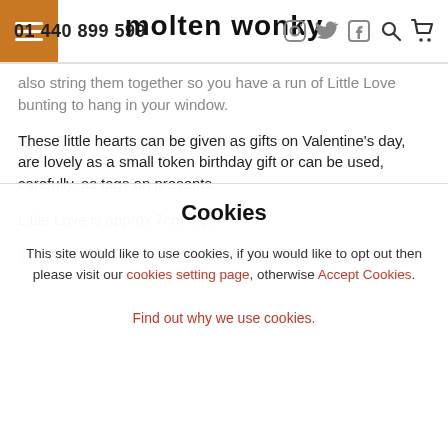01 440 899 599 | molten wonky
also string them together so you have a run of Little Love bunting to hang in your window.
These little hearts can be given as gifts on Valentine's day, are lovely as a small token birthday gift or can be used, carefully, as tags on presents.
Little Love is approx 7cm high.
This love heart will come to you wrapped in white tissue
Cookies
This site would like to use cookies, if you would like to opt out then please visit our cookies setting page, otherwise Accept Cookies.
Find out why we use cookies.